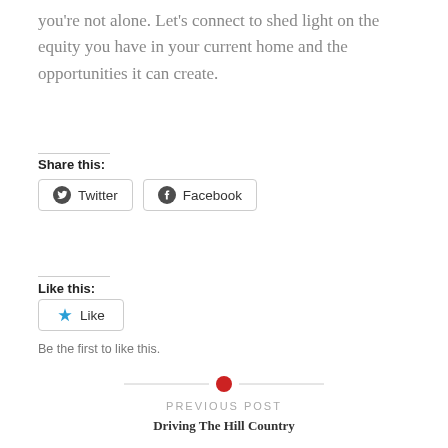you're not alone. Let's connect to shed light on the equity you have in your current home and the opportunities it can create.
Share this:
[Figure (other): Twitter and Facebook share buttons]
Like this:
[Figure (other): Like button with star icon]
Be the first to like this.
[Figure (other): Decorative divider with red circle in center]
PREVIOUS POST
Driving The Hill Country